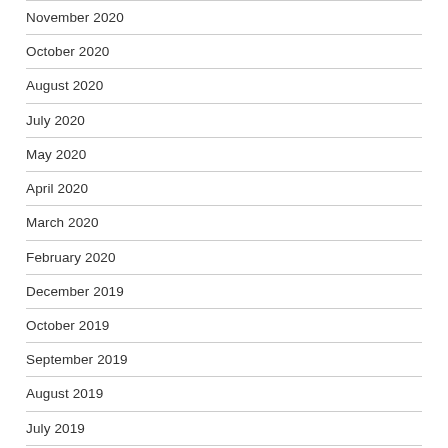November 2020
October 2020
August 2020
July 2020
May 2020
April 2020
March 2020
February 2020
December 2019
October 2019
September 2019
August 2019
July 2019